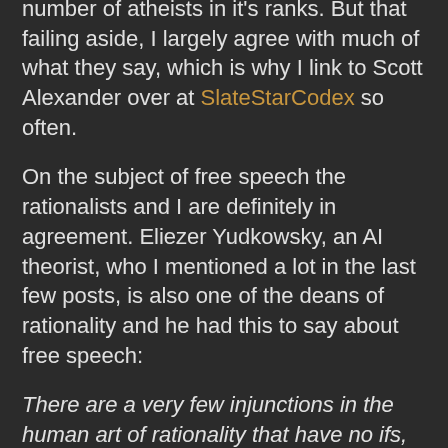number of atheists in it's ranks. But that failing aside, I largely agree with much of what they say, which is why I link to Scott Alexander over at SlateStarCodex so often.
On the subject of free speech the rationalists and I are definitely in agreement. Eliezer Yudkowsky, an AI theorist, who I mentioned a lot in the last few posts, is also one of the deans of rationality and he had this to say about free speech:
There are a very few injunctions in the human art of rationality that have no ifs, ands, buts, or escape clauses. This is one of them. Bad argument gets counterargument. Does not get bullet. Never. Never ever never for ever.
I totally agree with this point, though I can see how some people might choose to define some of the terms more or less broadly, leading to significant differences in the actual